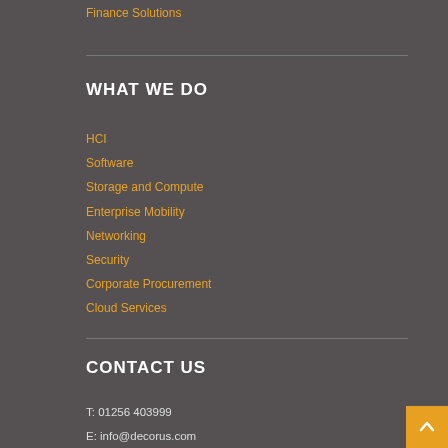Finance Solutions
WHAT WE DO
HCI
Software
Storage and Compute
Enterprise Mobility
Networking
Security
Corporate Procurement
Cloud Services
CONTACT US
T: 01256 403999
E: info@decorus.com